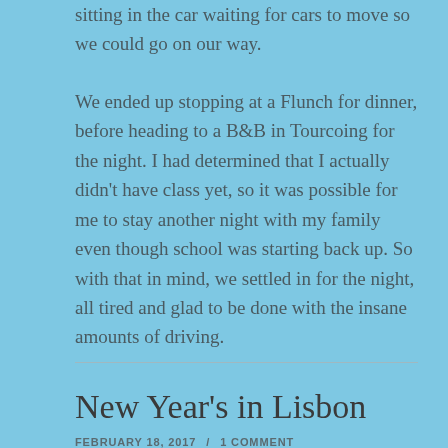sitting in the car waiting for cars to move so we could go on our way.
We ended up stopping at a Flunch for dinner, before heading to a B&B in Tourcoing for the night. I had determined that I actually didn't have class yet, so it was possible for me to stay another night with my family even though school was starting back up. So with that in mind, we settled in for the night, all tired and glad to be done with the insane amounts of driving.
New Year's in Lisbon
FEBRUARY 18, 2017 / 1 COMMENT